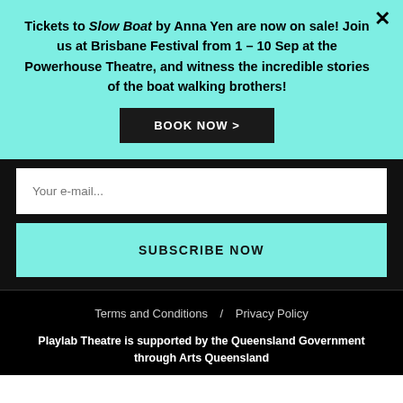Tickets to Slow Boat by Anna Yen are now on sale! Join us at Brisbane Festival from 1 – 10 Sep at the Powerhouse Theatre, and witness the incredible stories of the boat walking brothers!
BOOK NOW >
Your e-mail...
SUBSCRIBE NOW
Terms and Conditions  /  Privacy Policy
Playlab Theatre is supported by the Queensland Government through Arts Queensland